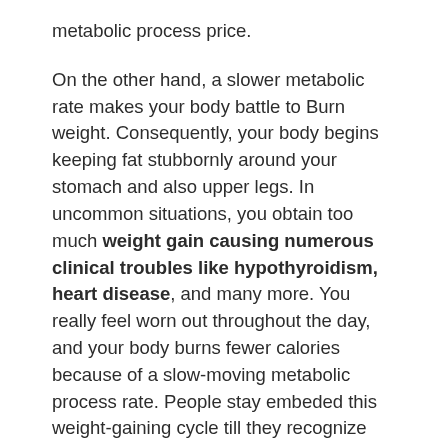metabolic process price.
On the other hand, a slower metabolic rate makes your body battle to Burn weight. Consequently, your body begins keeping fat stubbornly around your stomach and also upper legs. In uncommon situations, you obtain too much weight gain causing numerous clinical troubles like hypothyroidism, heart disease, and many more. You really feel worn out throughout the day, and your body burns fewer calories because of a slow-moving metabolic process rate. People stay embeded this weight-gaining cycle till they recognize “Adjustment Is The Demand.”
The formula of JavaBurn claims of pacing up the